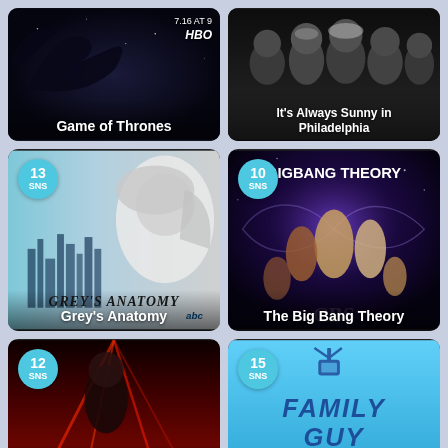[Figure (screenshot): Game of Thrones TV show poster - dark space/dragon theme with HBO branding, date 7.16 at 9]
Game of Thrones
[Figure (screenshot): It's Always Sunny in Philadelphia TV show - group of cast members in black and white photo]
It's Always Sunny in Philadelphia
[Figure (screenshot): Grey's Anatomy TV show poster - blue/grey tones with woman's face and city skyline silhouette, SNS badge 13]
Grey's Anatomy
[Figure (screenshot): The Big Bang Theory TV show poster - space/purple background with cast members, SNS badge 10]
The Big Bang Theory
[Figure (screenshot): Unknown show poster - dark red/black tones with dramatic lighting, SNS badge 12]
[Figure (screenshot): Family Guy TV show logo on blue background, SNS badge 15]